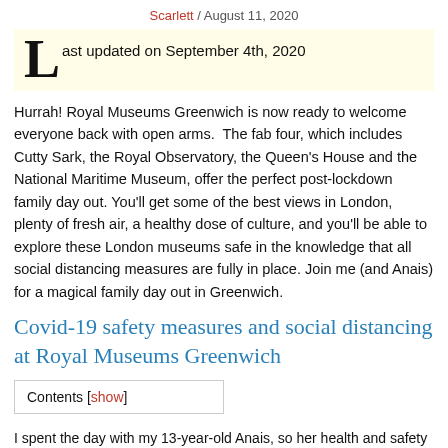Scarlett / August 11, 2020
Last updated on September 4th, 2020
Hurrah! Royal Museums Greenwich is now ready to welcome everyone back with open arms.  The fab four, which includes Cutty Sark, the Royal Observatory, the Queen's House and the National Maritime Museum, offer the perfect post-lockdown family day out. You'll get some of the best views in London, plenty of fresh air, a healthy dose of culture, and you'll be able to explore these London museums safe in the knowledge that all social distancing measures are fully in place. Join me (and Anais) for a magical family day out in Greenwich.
Covid-19 safety measures and social distancing at Royal Museums Greenwich
Contents [show]
I spent the day with my 13-year-old Anais, so her health and safety